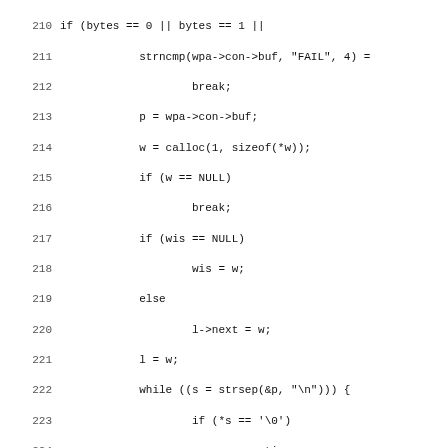[Figure (screenshot): Source code listing in monospace font showing C code lines 210-242, with line numbers on the left and code on the right. Some lines are truncated at the right edge.]